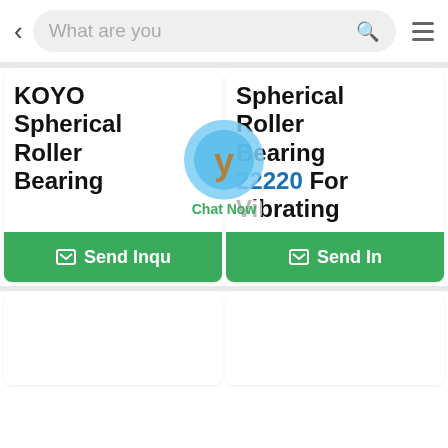[Figure (screenshot): Mobile app search bar at top with back arrow, search placeholder text 'What are you', search icon (green magnifying glass), and hamburger menu icon]
KOYO Spherical Roller Bearing
Spherical Roller Bearing 22220 For Vibrating
[Figure (other): Chat Now overlay with circular blue/teal logo and 'Chat Now' text in green]
Send Inqu
Send In